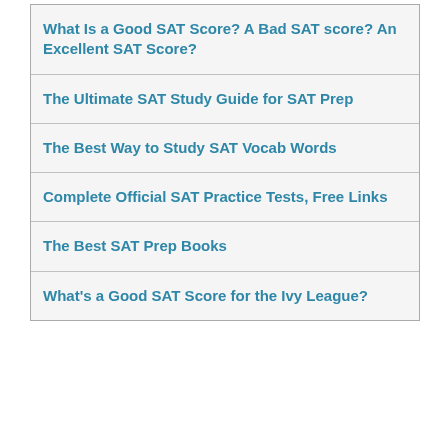What Is a Good SAT Score? A Bad SAT score? An Excellent SAT Score?
The Ultimate SAT Study Guide for SAT Prep
The Best Way to Study SAT Vocab Words
Complete Official SAT Practice Tests, Free Links
The Best SAT Prep Books
What's a Good SAT Score for the Ivy League?